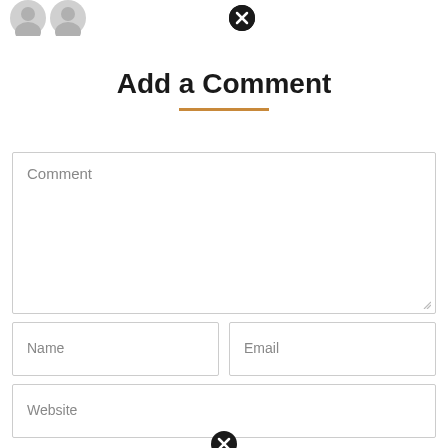[Figure (illustration): Two gray avatar/profile icons in the top left corner]
[Figure (illustration): Black circle with X close button icon, top center]
Add a Comment
[Figure (illustration): Comment textarea input field with placeholder text 'Comment']
[Figure (illustration): Name input field with placeholder text 'Name']
[Figure (illustration): Email input field with placeholder text 'Email']
[Figure (illustration): Website input field with placeholder text 'Website']
[Figure (illustration): Black circle with X close button icon, bottom center]